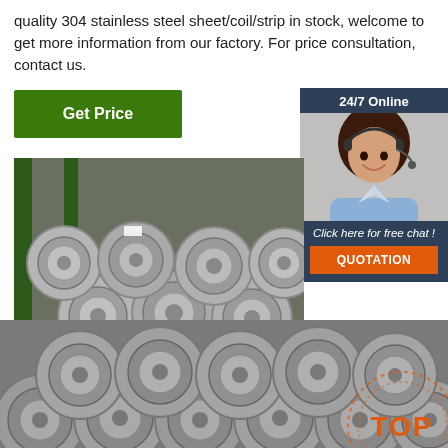quality 304 stainless steel sheet/coil/strip in stock, welcome to get more information from our factory. For price consultation, contact us.
Get Price
24/7 Online
[Figure (photo): Customer service representative woman with headset smiling]
Click here for free chat !
QUOTATION
[Figure (photo): Stacks of steel wire coil rolls in a warehouse]
[Figure (photo): More stacked steel wire coil rolls, lower section]
TOP